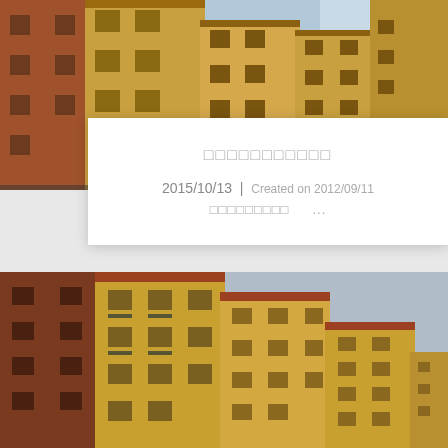[Figure (photo): Photograph of multi-story apartment buildings with yellow and brown facades, blue sky and ocean in background (cropped top portion)]
□□□□□□□□□□□
2015/10/13 | Created on 2012/09/11
□□□□□□□□□  ...
[Figure (photo): Photograph of multi-story apartment buildings with brown and yellow/ochre stucco facades, louvered shutters, balconies, overcast grey sky background]